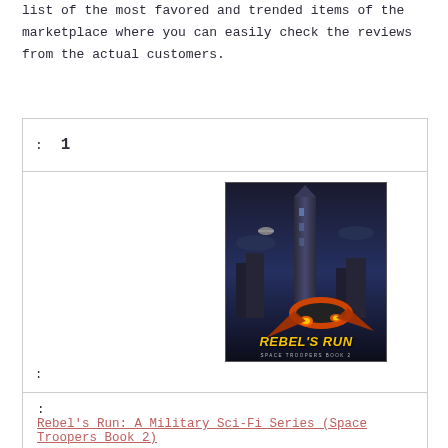list of the most favored and trended items of the marketplace where you can easily check the reviews from the actual customers.
| Rank | 1 |
| --- | --- |
| [book cover image] |  |
| Title: | Rebel's Run: A Military Sci-Fi Series (Space Troopers Book 2) |
Rebel's Run: A Military Sci-Fi Series (Space Troopers Book 2)